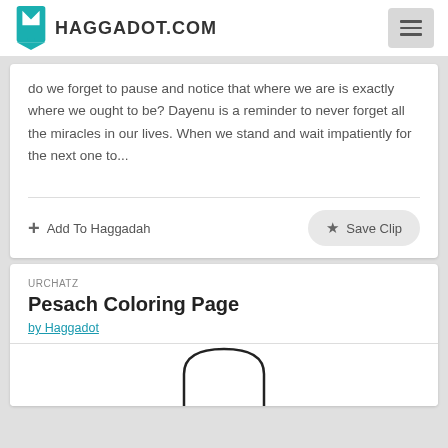HAGGADOT.COM
do we forget to pause and notice that where we are is exactly where we ought to be? Dayenu is a reminder to never forget all the miracles in our lives. When we stand and wait impatiently for the next one to...
+ Add To Haggadah
★ Save Clip
URCHATZ
Pesach Coloring Page
by Haggadot